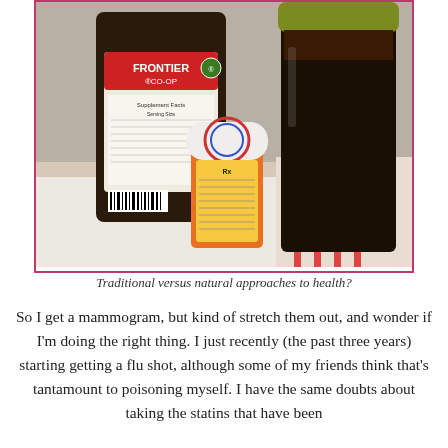[Figure (photo): Photo showing a Frontier Co-op spice bottle, a dark glass jar with yellow lid, and an orange prescription pill bottle on a white cloth surface. Items represent traditional (prescription medication) versus natural (spices/supplements) approaches to health.]
Traditional versus natural approaches to health?
So I get a mammogram, but kind of stretch them out, and wonder if I'm doing the right thing. I just recently (the past three years) starting getting a flu shot, although some of my friends think that's tantamount to poisoning myself. I have the same doubts about taking the statins that have been